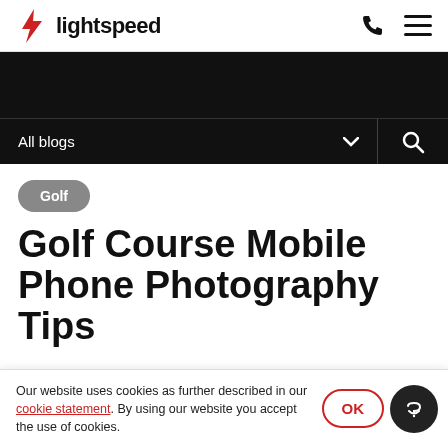lightspeed
[Figure (illustration): Dark hero banner area]
All blogs
Golf
Golf Course Mobile Phone Photography Tips
Our website uses cookies as further described in our cookie statement. By using our website you accept the use of cookies.